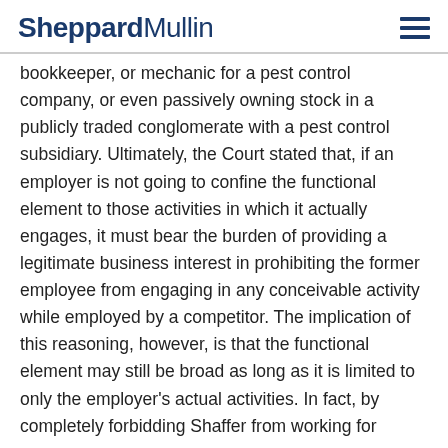SheppardMullin
bookkeeper, or mechanic for a pest control company, or even passively owning stock in a publicly traded conglomerate with a pest control subsidiary. Ultimately, the Court stated that, if an employer is not going to confine the functional element to those activities in which it actually engages, it must bear the burden of providing a legitimate business interest in prohibiting the former employee from engaging in any conceivable activity while employed by a competitor. The implication of this reasoning, however, is that the functional element may still be broad as long as it is limited to only the employer's actual activities. In fact, by completely forbidding Shaffer from working for